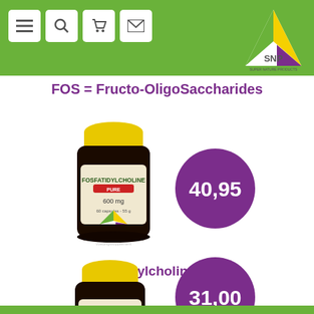SNP Super Nature Products - Navigation header with menu, search, cart, mail icons
FOS = Fructo-OligoSaccharides
[Figure (photo): SNP Fosfatidylcholine Pure 600mg supplement bottle with yellow cap]
[Figure (infographic): Purple price bubble showing 40,95]
Fosfatidylcholine Pure
[Figure (photo): SNP G.L.A. Borage 710mg supplement bottle with yellow cap]
[Figure (infographic): Purple price bubble showing 31,00]